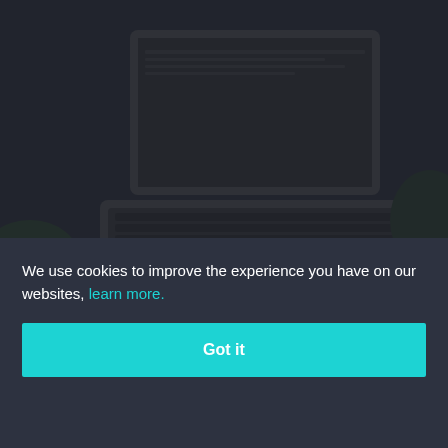[Figure (photo): Background photo of a laptop on a desk with a plant, dark overlay applied. Article hero image.]
1 min read
The Types Of Facebook Ads To Run To Quickly Succeed (Part 2)
Devin Zander
5 years and 28 days ago
We use cookies to improve the experience you have on our websites, learn more.
Got it